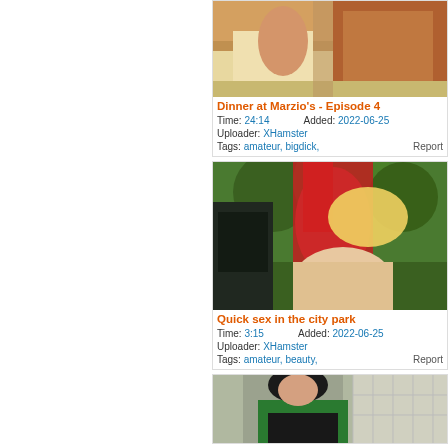[Figure (photo): Thumbnail for video 'Dinner at Marzio's - Episode 4', partially cropped at top]
Dinner at Marzio's - Episode 4
Time: 24:14   Added: 2022-06-25
Uploader: XHamster
Tags: amateur, bigdick,   Report
[Figure (photo): Thumbnail for video 'Quick sex in the city park' showing a woman in red outfit outdoors]
Quick sex in the city park
Time: 3:15   Added: 2022-06-25
Uploader: XHamster
Tags: amateur, beauty,   Report
[Figure (photo): Thumbnail for a third video, partially visible at bottom, showing a woman in green shirt]